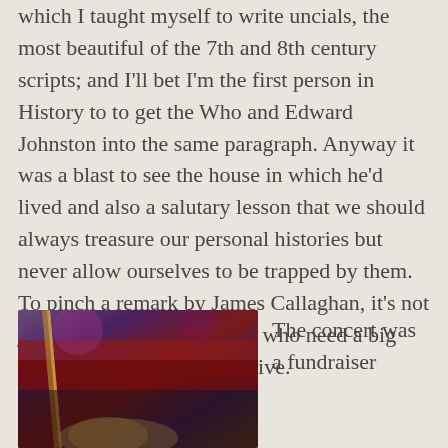which I taught myself to write uncials, the most beautiful of the 7th and 8th century scripts; and I'll bet I'm the first person in History to to get the Who and Edward Johnston into the same paragraph. Anyway it was a blast to see the house in which he'd lived and also a salutary lesson that we should always treasure our personal histories but never allow ourselves to be trapped by them. To pinch a remark by James Callaghan, it's not just politicians but all of us who need a big hinterland if we want to thrive.
[Figure (photo): A photograph taken at a concert venue showing a performer or audience area with red and purple stage lighting, with a partial view of a person in the foreground bottom.]
The concert was a fundraiser